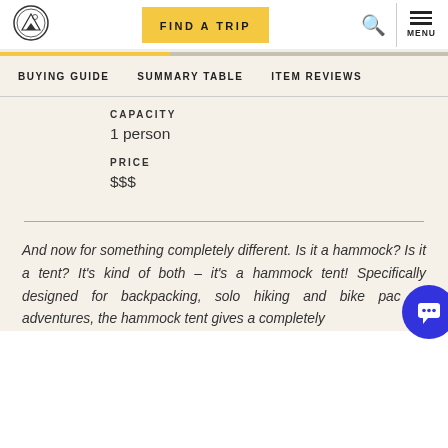FIND A TRIP | MENU
BUYING GUIDE   SUMMARY TABLE   ITEM REVIEWS
CAPACITY
1 person
PRICE
$$$
And now for something completely different. Is it a hammock? Is it a tent? It's kind of both – it's a hammock tent! Specifically designed for backpacking, solo hiking and bike packing adventures, the hammock tent gives a completely